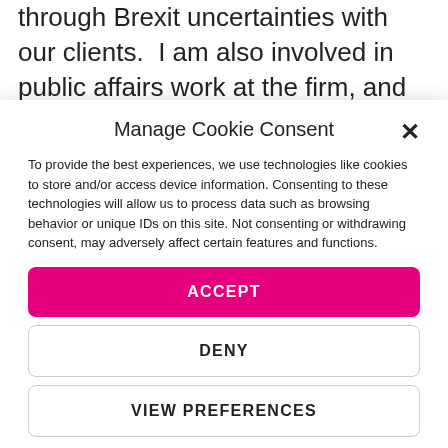through Brexit uncertainties with our clients.  I am also involved in public affairs work at the firm, and our internal communications.
Manage Cookie Consent
To provide the best experiences, we use technologies like cookies to store and/or access device information. Consenting to these technologies will allow us to process data such as browsing behavior or unique IDs on this site. Not consenting or withdrawing consent, may adversely affect certain features and functions.
ACCEPT
DENY
VIEW PREFERENCES
Terms & Conditions